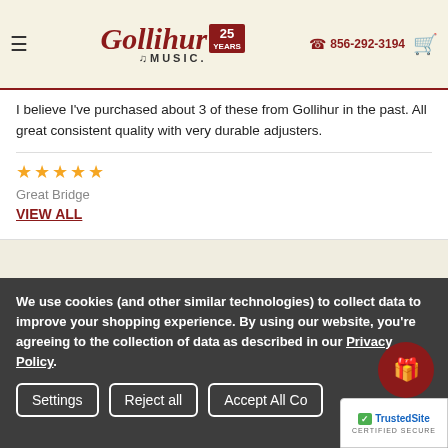Gollihur Music | 25 Years | 856-292-3194
I believe I've purchased about 3 of these from Gollihur in the past. All great consistent quality with very durable adjusters.
★★★★★
Great Bridge
VIEW ALL
Related Products
[Figure (photo): Product image of a wooden bridge]
[Figure (photo): Product image with On Sale badge]
We use cookies (and other similar technologies) to collect data to improve your shopping experience. By using our website, you're agreeing to the collection of data as described in our Privacy Policy.
Settings | Reject all | Accept All Co...